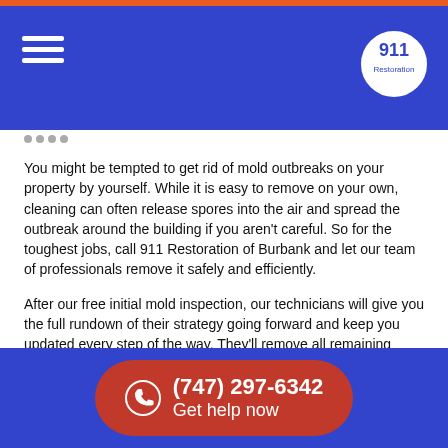911 Restoration — navigation header
You might be tempted to get rid of mold outbreaks on your property by yourself. While it is easy to remove on your own, cleaning can often release spores into the air and spread the outbreak around the building if you aren't careful. So for the toughest jobs, call 911 Restoration of Burbank and let our team of professionals remove it safely and efficiently.
After our free initial mold inspection, our technicians will give you the full rundown of their strategy going forward and keep you updated every step of the way. They'll remove all remaining water, get everything completely dry, and take all necessary precautions to keep the mold from spreading further. They will also check for additional outbreaks around your property and replace any drywall, insulation, or other affected areas if they are too badly damaged.
(747) 297-6342 Get help now